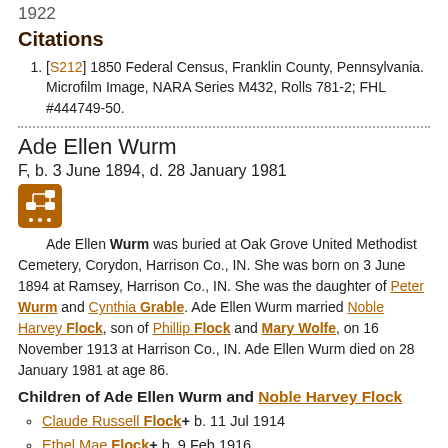1922
Citations
[S212] 1850 Federal Census, Franklin County, Pennsylvania. Microfilm Image, NARA Series M432, Rolls 781-2; FHL #444749-50.
Ade Ellen Wurm
F, b. 3 June 1894, d. 28 January 1981
[Figure (other): Pedigree/family tree icon button (orange square with family tree symbol)]
Ade Ellen Wurm was buried at Oak Grove United Methodist Cemetery, Corydon, Harrison Co., IN. She was born on 3 June 1894 at Ramsey, Harrison Co., IN. She was the daughter of Peter Wurm and Cynthia Grable. Ade Ellen Wurm married Noble Harvey Flock, son of Phillip Flock and Mary Wolfe, on 16 November 1913 at Harrison Co., IN. Ade Ellen Wurm died on 28 January 1981 at age 86.
Children of Ade Ellen Wurm and Noble Harvey Flock
Claude Russell Flock+ b. 11 Jul 1914
Ethel Mae Flock+ b. 9 Feb 1916
Helen Elizabeth Flock+ b. 4 Jun 1918